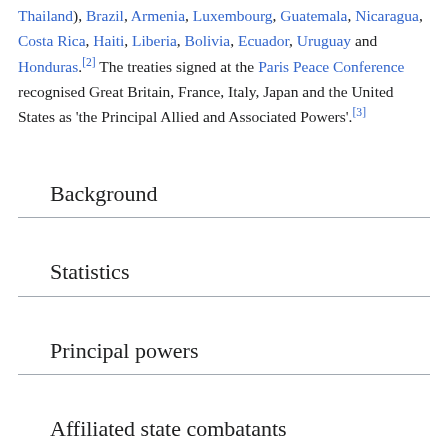Thailand), Brazil, Armenia, Luxembourg, Guatemala, Nicaragua, Costa Rica, Haiti, Liberia, Bolivia, Ecuador, Uruguay and Honduras.[2] The treaties signed at the Paris Peace Conference recognised Great Britain, France, Italy, Japan and the United States as 'the Principal Allied and Associated Powers'.[3]
Background
Statistics
Principal powers
Affiliated state combatants